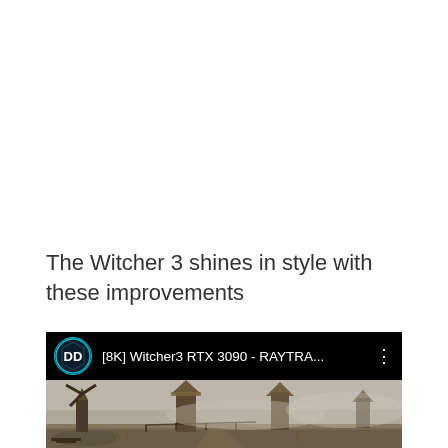The Witcher 3 shines in style with these improvements
[Figure (screenshot): YouTube video thumbnail preview showing '[8K] Witcher3 RTX 3090 - RAYTRA...' with a channel icon (DD logo) on black bar, and below it a moody foggy scene with windmills in The Witcher 3 game.]